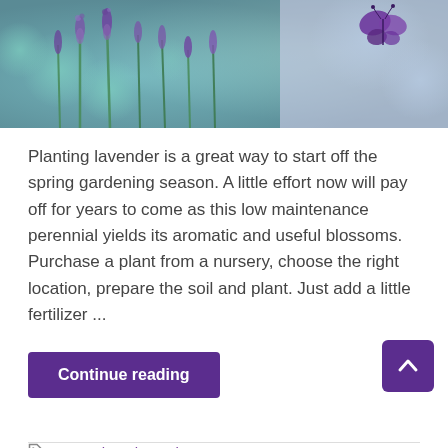[Figure (photo): Close-up photo of lavender flowers with soft bokeh background in purple and green tones, with a butterfly visible in upper right corner]
Planting lavender is a great way to start off the spring gardening season. A little effort now will pay off for years to come as this low maintenance perennial yields its aromatic and useful blossoms. Purchase a plant from a nursery, choose the right location, prepare the soil and plant. Just add a little fertilizer ...
Continue reading
Lavender, lavender care
Attracting Butterflies and